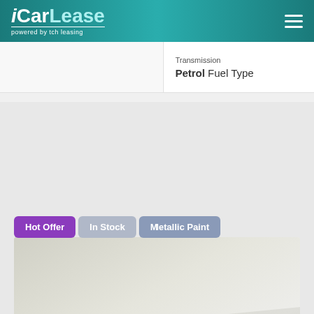iCarLease powered by tch leasing
Transmission
Petrol Fuel Type
[Figure (photo): Yellow MINI convertible (registration M NC 3137) photographed in a studio setting against a light grey background. The car is shown from a front three-quarter angle. Badges shown: Hot Offer, In Stock, Metallic Paint.]